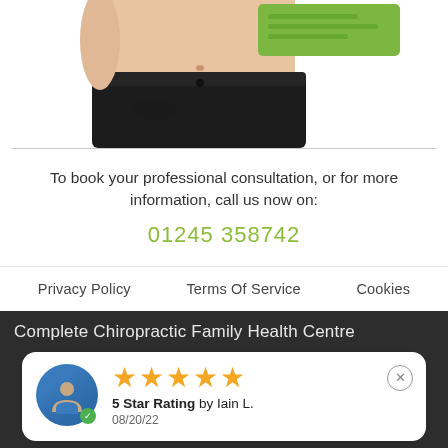[Figure (photo): Partial view of a woman's torso wearing black shorts, holding or near a green product card/label, white background]
To book your professional consultation, or for more information, call us now on:
01245 358742
Privacy Policy   Terms Of Service   Cookies
Complete Chiropractic Family Health Centre
5 Star Rating by Iain L. 08/20/22